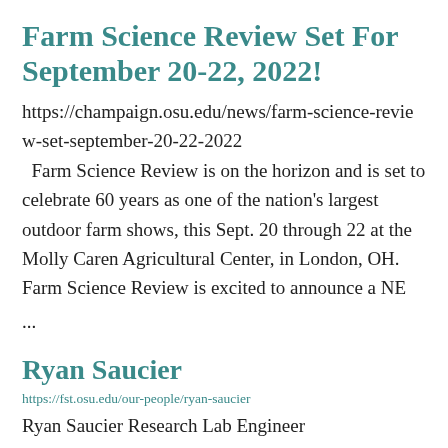Farm Science Review Set For September 20-22, 2022!
https://champaign.osu.edu/news/farm-science-review-set-september-20-22-2022
Farm Science Review is on the horizon and is set to celebrate 60 years as one of the nation's largest outdoor farm shows, this Sept. 20 through 22 at the Molly Caren Agricultural Center, in London, OH.    Farm Science Review is excited to announce a NE
...
Ryan Saucier
https://fst.osu.edu/our-people/ryan-saucier
Ryan Saucier Research Lab Engineer